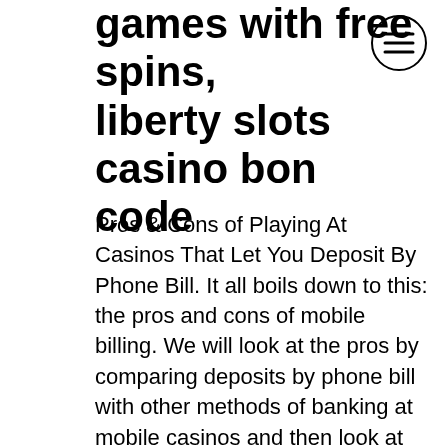games with free spins, liberty slots casino bonus code
Pros & Cons of Playing At Casinos That Let You Deposit By Phone Bill. It all boils down to this: the pros and cons of mobile billing. We will look at the pros by comparing deposits by phone bill with other methods of banking at mobile casinos and then look at the possible cons as well. You can also check out our complete list of banking methods at mobile casinos to understand deposits by phone bill and gauge the pros and cons of it with respect to other deposit methods. Is Mobile Billing Better Than Ukash, free spins 1 pound deposit. Play at Jackpot Cash Casino with our, free spins 1 pound deposit. Welcome to Crazy Luck Casino No D, liberty online bitcoin casino no deposit bonus codes. Play real money online